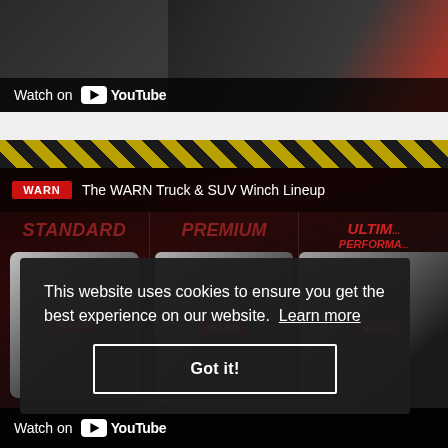[Figure (screenshot): Top YouTube video thumbnail showing dark machinery/winch with 'Watch on YouTube' overlay bar at bottom]
[Figure (screenshot): WARN Truck & SUV Winch Lineup product image showing three winch categories: STANDARD, PREMIUM, and ULTIMATE PERFORMANCE with WARN logos, and 'Watch on YouTube' bar at bottom]
This website uses cookies to ensure you get the best experience on our website. Learn more
Got it!